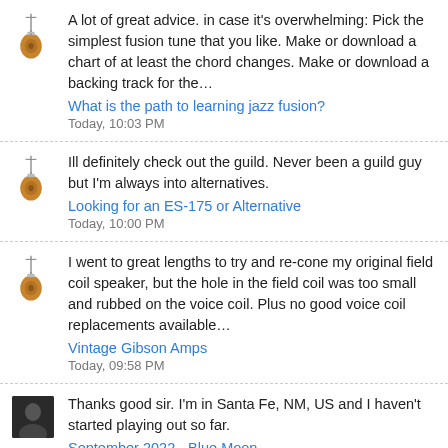A lot of great advice. in case it's overwhelming: Pick the simplest fusion tune that you like. Make or download a chart of at least the chord changes. Make or download a backing track for the… | What is the path to learning jazz fusion? | Today, 10:03 PM
Ill definitely check out the guild. Never been a guild guy but I'm always into alternatives. | Looking for an ES-175 or Alternative | Today, 10:00 PM
I went to great lengths to try and re-cone my original field coil speaker, but the hole in the field coil was too small and rubbed on the voice coil. Plus no good voice coil replacements available… | Vintage Gibson Amps | Today, 09:58 PM
Thanks good sir. I'm in Santa Fe, NM, US and I haven't started playing out so far. | September 2022 - Blue Moon